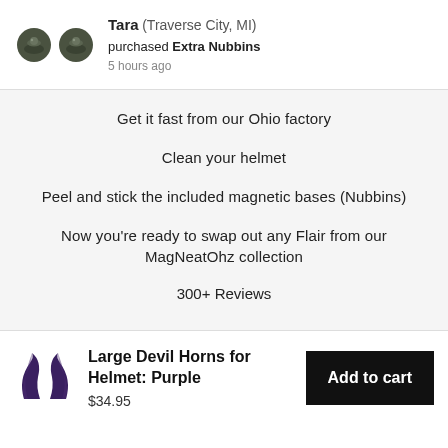Tara (Traverse City, MI) purchased Extra Nubbins 5 hours ago
Get it fast from our Ohio factory
Clean your helmet
Peel and stick the included magnetic bases (Nubbins)
Now you're ready to swap out any Flair from our MagNeatOhz collection
300+ Reviews
Large Devil Horns for Helmet: Purple $34.95
Add to cart